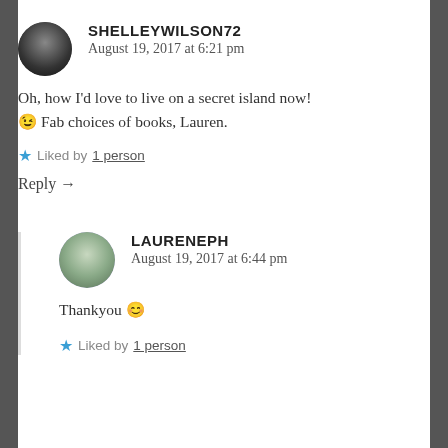SHELLEYWILSON72
August 19, 2017 at 6:21 pm

Oh, how I'd love to live on a secret island now! 😉 Fab choices of books, Lauren.

★ Liked by 1 person
Reply →
LAURENEPH
August 19, 2017 at 6:44 pm

Thankyou 😊

★ Liked by 1 person